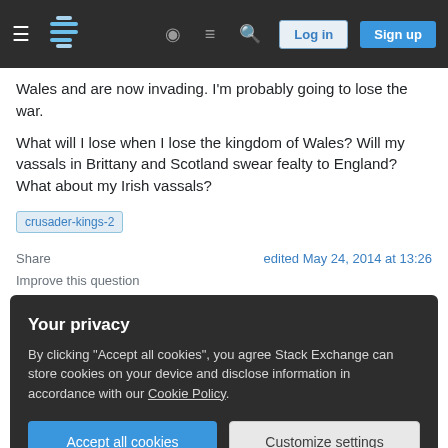Stack Exchange navigation bar with hamburger menu, logo, help, chat, search icons, Log in and Sign up buttons
Wales and are now invading. I'm probably going to lose the war.

What will I lose when I lose the kingdom of Wales? Will my vassals in Brittany and Scotland swear fealty to England? What about my Irish vassals?
crusader-kings-2
Share
edited May 24, 2014 at 13:26
Improve this question
Your privacy
By clicking "Accept all cookies", you agree Stack Exchange can store cookies on your device and disclose information in accordance with our Cookie Policy.
Accept all cookies   Customize settings